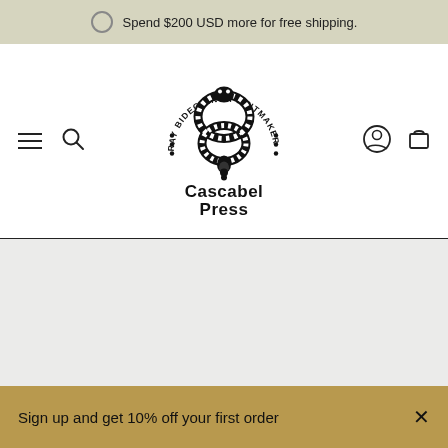Spend $200 USD more for free shipping.
[Figure (logo): Cascabel Press logo: a rattlesnake forming a figure-8 shape with text 'RAY BIDEGAIN • PRINTMAKER' arching above, with decorative dots, and 'Cascabel Press' in bold text below]
Sign up and get 10% off your first order